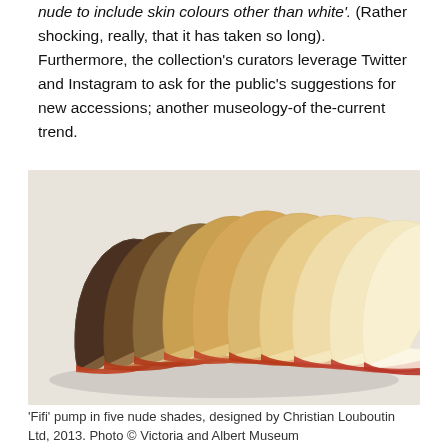that a major fashion house had adjusted its definition of 'nude to include skin colours other than white'. (Rather shocking, really, that it has taken so long). Furthermore, the collection's curators leverage Twitter and Instagram to ask for the public's suggestions for new accessions; another museology-of the-current trend.
[Figure (photo): A row of Christian Louboutin 'Fifi' pump shoes in five nude shades ranging from dark brown to light beige/cream, arranged in a fan/overlapping formation on a white background.]
'Fifi' pump in five nude shades, designed by Christian Louboutin Ltd, 2013. Photo © Victoria and Albert Museum